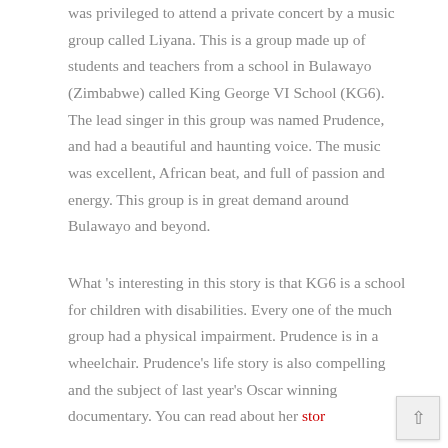was privileged to attend a private concert by a music group called Liyana. This is a group made up of students and teachers from a school in Bulawayo (Zimbabwe) called King George VI School (KG6). The lead singer in this group was named Prudence, and had a beautiful and haunting voice. The music was excellent, African beat, and full of passion and energy. This group is in great demand around Bulawayo and beyond.
What 's interesting in this story is that KG6 is a school for children with disabilities. Every one of the much group had a physical impairment. Prudence is in a wheelchair. Prudence's life story is also compelling and the subject of last year's Oscar winning documentary. You can read about her story